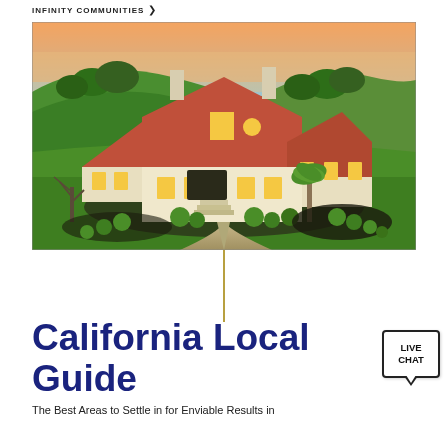INFINITY COMMUNITIES
[Figure (photo): Aerial view of a large Mediterranean-style California estate with red tile roof, white/cream stucco walls, multi-car garage, curved driveway, manicured landscaping with round shrubs, palm tree, green rolling hills and trees in background at sunset/dusk.]
California Local Guide
The Best Areas to Settle in for Enviable Results in
[Figure (other): Live Chat button widget]